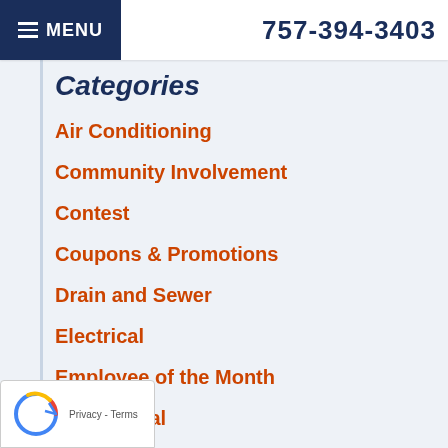MENU  757-394-3403
Categories
Air Conditioning
Community Involvement
Contest
Coupons & Promotions
Drain and Sewer
Electrical
Employee of the Month
Geothermal
Go Green
Happy Holidays